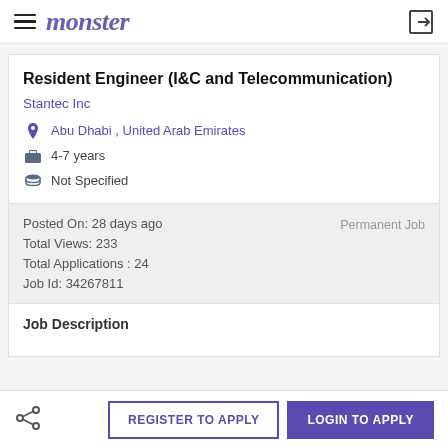monster
Resident Engineer (I&C and Telecommunication)
Stantec Inc
Abu Dhabi , United Arab Emirates
4-7 years
Not Specified
Posted On: 28 days ago
Total Views: 233
Total Applications : 24
Job Id: 34267811
Permanent Job
Job Description
REGISTER TO APPLY
LOGIN TO APPLY